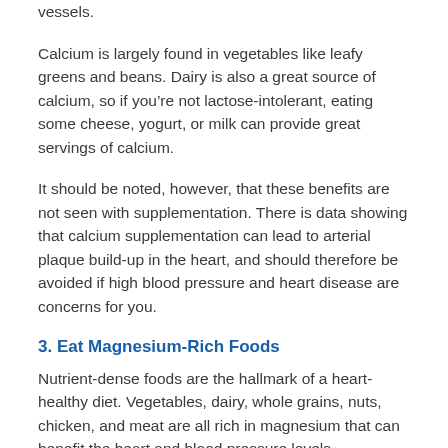vessels.
Calcium is largely found in vegetables like leafy greens and beans. Dairy is also a great source of calcium, so if you’re not lactose-intolerant, eating some cheese, yogurt, or milk can provide great servings of calcium.
It should be noted, however, that these benefits are not seen with supplementation. There is data showing that calcium supplementation can lead to arterial plaque build-up in the heart, and should therefore be avoided if high blood pressure and heart disease are concerns for you.
3. Eat Magnesium-Rich Foods
Nutrient-dense foods are the hallmark of a heart-healthy diet. Vegetables, dairy, whole grains, nuts, chicken, and meat are all rich in magnesium that can benefit the heart and blood pressure levels.